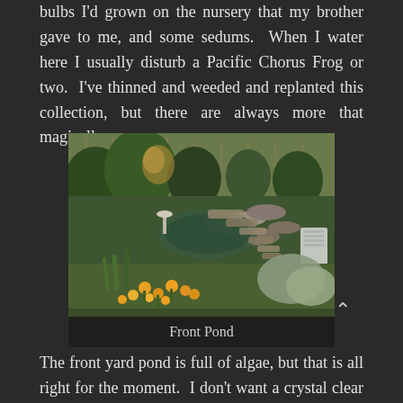bulbs I'd grown on the nursery that my brother gave to me, and some sedums. When I water here I usually disturb a Pacific Chorus Frog or two. I've thinned and weeded and replanted this collection, but there are always more that magically appear.
[Figure (photo): A garden photo showing a front pond area with stone pathways, yellow and orange flowers in the foreground, green shrubs and plants, a birdbath, a white lawn chair on the right side, and a fence in the background.]
Front Pond
The front yard pond is full of algae, but that is all right for the moment. I don't want a crystal clear pond; I want